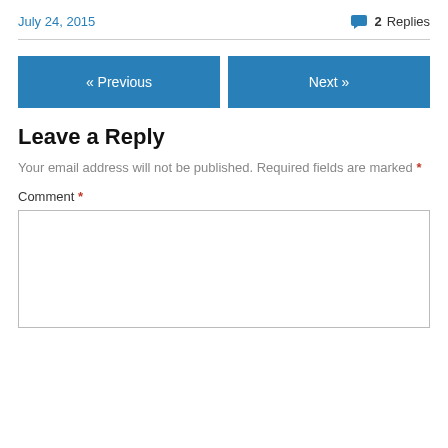July 24, 2015
💬 2 Replies
Leave a Reply
Your email address will not be published. Required fields are marked *
Comment *